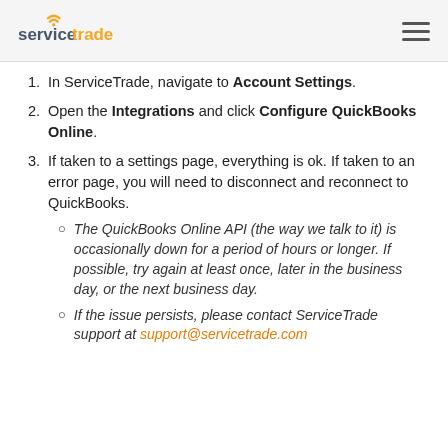servicetrade
In ServiceTrade, navigate to Account Settings.
Open the Integrations and click Configure QuickBooks Online.
If taken to a settings page, everything is ok. If taken to an error page, you will need to disconnect and reconnect to QuickBooks.
The QuickBooks Online API (the way we talk to it) is occasionally down for a period of hours or longer. If possible, try again at least once, later in the business day, or the next business day.
If the issue persists, please contact ServiceTrade support at support@servicetrade.com